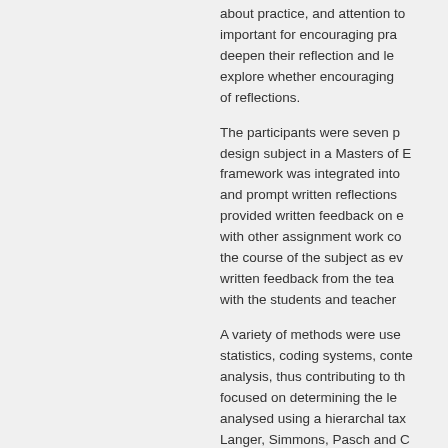about practice, and attention to important for encouraging pra deepen their reflection and le explore whether encouraging of reflections.
The participants were seven p design subject in a Masters of E framework was integrated into and prompt written reflections provided written feedback on e with other assignment work co the course of the subject as ev written feedback from the tea with the students and teacher
A variety of methods were use statistics, coding systems, conte analysis, thus contributing to th focused on determining the le analysed using a hierarchal tax Langer, Simmons, Pasch and C participants' reflections and the examined.
FoR codes (2008)
1303 SPECIALIST STUDIES IN